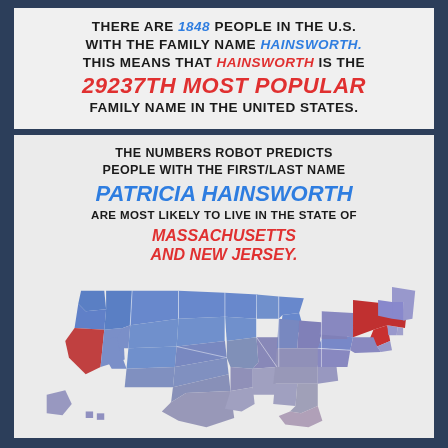THERE ARE 1848 PEOPLE IN THE U.S. WITH THE FAMILY NAME HAINSWORTH. THIS MEANS THAT HAINSWORTH IS THE 29237TH MOST POPULAR FAMILY NAME IN THE UNITED STATES.
THE NUMBERS ROBOT PREDICTS PEOPLE WITH THE FIRST/LAST NAME PATRICIA HAINSWORTH ARE MOST LIKELY TO LIVE IN THE STATE OF MASSACHUSETTS AND NEW JERSEY.
[Figure (map): Map of the United States with states colored in shades of blue, purple, and red. Massachusetts and New Jersey are highlighted in red/dark red as the most likely states. Other states vary from light blue to dark purple.]